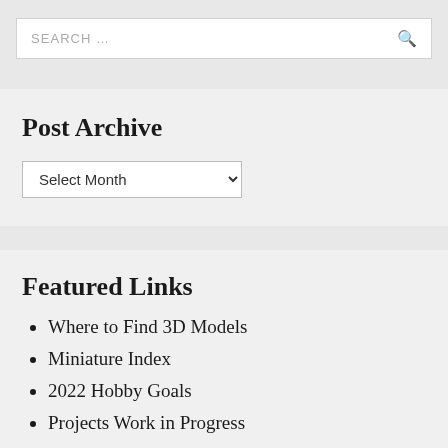SEARCH …
Post Archive
Select Month
Featured Links
Where to Find 3D Models
Miniature Index
2022 Hobby Goals
Projects Work in Progress